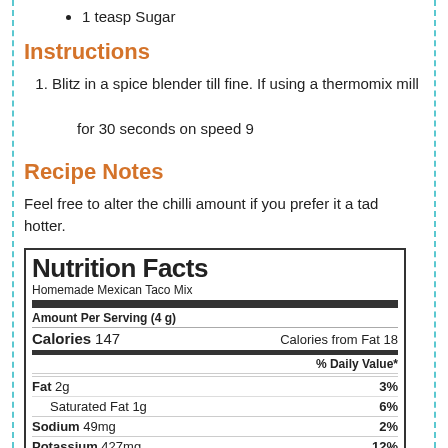1 teasp Sugar
Instructions
1. Blitz in a spice blender till fine. If using a thermomix mill for 30 seconds on speed 9
Recipe Notes
Feel free to alter the chilli amount if you prefer it a tad hotter.
| Nutrition Facts |  |
| --- | --- |
| Homemade Mexican Taco Mix |  |
| Amount Per Serving (4 g) |  |
| Calories 147 | Calories from Fat 18 |
| % Daily Value* |  |
| Fat 2g | 3% |
| Saturated Fat 1g | 6% |
| Sodium 49mg | 2% |
| Potassium 427mg | 12% |